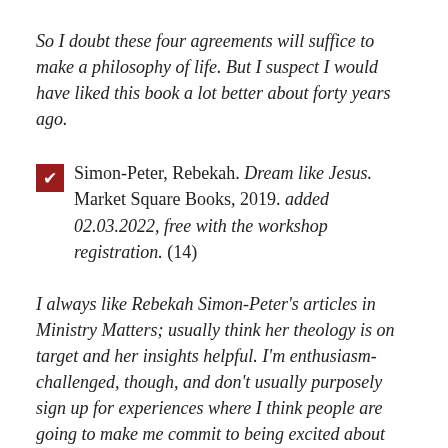So I doubt these four agreements will suffice to make a philosophy of life. But I suspect I would have liked this book a lot better about forty years ago.
Simon-Peter, Rebekah. Dream like Jesus. Market Square Books, 2019. added 02.03.2022, free with the workshop registration. (14)
I always like Rebekah Simon-Peter's articles in Ministry Matters; usually think her theology is on target and her insights helpful. I'm enthusiasm-challenged, though, and don't usually purposely sign up for experiences where I think people are going to make me commit to being excited about whatever. But I signed up for this workshop anyway, and although I did have to battle my enthusiasm challenge, I thought the